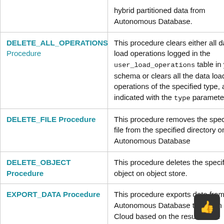| Procedure/Function | Description |
| --- | --- |
| (continued from above) | hybrid partitioned data from Autonomous Database. |
| DELETE_ALL_OPERATIONS Procedure | This procedure clears either all data load operations logged in the user_load_operations table in your schema or clears all the data load operations of the specified type, as indicated with the type parameter. |
| DELETE_FILE Procedure | This procedure removes the specified file from the specified directory on Autonomous Database |
| DELETE_OBJECT Procedure | This procedure deletes the specified object on object store. |
| EXPORT_DATA Procedure | This procedure exports data from Autonomous Database to files in the Cloud based on the result of the specified query. The overloaded form enables you to use the |